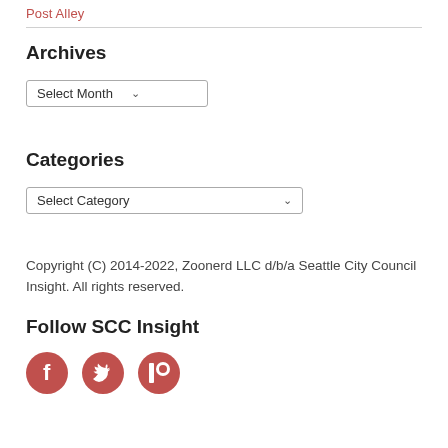Post Alley
Archives
Select Month
Categories
Select Category
Copyright (C) 2014-2022, Zoonerd LLC d/b/a Seattle City Council Insight. All rights reserved.
Follow SCC Insight
[Figure (illustration): Three social media icons: Facebook (circle with f), Twitter (bird), Patreon (P flag shape), all in red color]